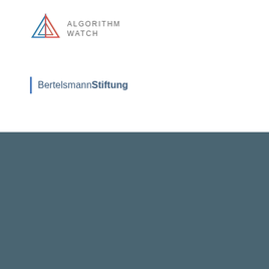[Figure (logo): AlgorithmWatch logo with geometric diamond/triangle shape in green, red, and blue colors, with text ALGORITHM WATCH in uppercase gray letters]
[Figure (logo): Bertelsmann Stiftung logo with a vertical blue bar and text Bertelsmann in normal weight and Stiftung in bold, both in dark navy/slate blue color]
[Figure (other): Dark teal/slate background section with multiple light gray redacted/blurred content blocks arranged in rows]